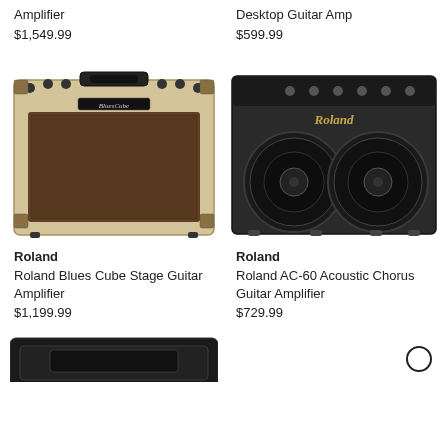Amplifier
$1,549.99
Desktop Guitar Amp
$599.99
[Figure (photo): Roland Blues Cube Stage Guitar Amplifier - cream/tan colored combo amplifier with brown grille cloth]
[Figure (photo): Roland AC-60 Acoustic Chorus Guitar Amplifier - black amplifier with two circular speakers]
Roland
Roland Blues Cube Stage Guitar Amplifier
$1,199.99
Roland
Roland AC-60 Acoustic Chorus Guitar Amplifier
$729.99
[Figure (photo): Partial view of a black guitar case or bag at the bottom of the page]